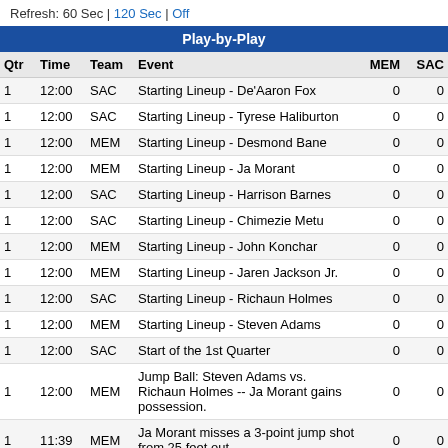Refresh: 60 Sec | 120 Sec | Off
| Qtr | Time | Team | Event | MEM | SAC |
| --- | --- | --- | --- | --- | --- |
| 1 | 12:00 | SAC | Starting Lineup - De'Aaron Fox | 0 | 0 |
| 1 | 12:00 | SAC | Starting Lineup - Tyrese Haliburton | 0 | 0 |
| 1 | 12:00 | MEM | Starting Lineup - Desmond Bane | 0 | 0 |
| 1 | 12:00 | MEM | Starting Lineup - Ja Morant | 0 | 0 |
| 1 | 12:00 | SAC | Starting Lineup - Harrison Barnes | 0 | 0 |
| 1 | 12:00 | SAC | Starting Lineup - Chimezie Metu | 0 | 0 |
| 1 | 12:00 | MEM | Starting Lineup - John Konchar | 0 | 0 |
| 1 | 12:00 | MEM | Starting Lineup - Jaren Jackson Jr. | 0 | 0 |
| 1 | 12:00 | SAC | Starting Lineup - Richaun Holmes | 0 | 0 |
| 1 | 12:00 | MEM | Starting Lineup - Steven Adams | 0 | 0 |
| 1 | 12:00 | SAC | Start of the 1st Quarter | 0 | 0 |
| 1 | 12:00 | MEM | Jump Ball: Steven Adams vs. Richaun Holmes -- Ja Morant gains possession. | 0 | 0 |
| 1 | 11:39 | MEM | Ja Morant misses a 3-point jump shot from 25 feet out. | 0 | 0 |